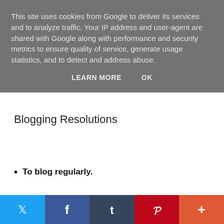This site uses cookies from Google to deliver its services and to analyze traffic. Your IP address and user-agent are shared with Google along with performance and security metrics to ensure quality of service, generate usage statistics, and to detect and address abuse.
LEARN MORE   OK
Blogging Resolutions
To blog regularly.
[Figure (infographic): Social sharing bar at the bottom with Twitter (blue), Facebook (dark blue), Tumblr (dark navy), Pinterest (red), and More (orange-red) buttons with their respective icons.]